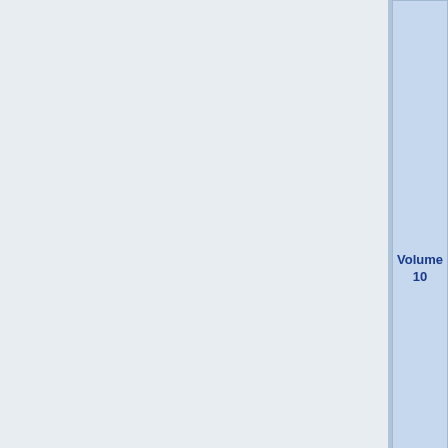| Volume | Content |  |
| --- | --- | --- |
| Volume 10 | A Day For You 01 - Sweet Day: Sweet Before II A Day For You 02 - Sweet Day: Sweet Before III - A Day For You 03 - Sweet Day: Sweet Midnight To Conquer the Phalanx - Author's Notes |  |
|  | Novel Illust. - Happy Hot Dash - Morning of You and Me - Impact of |  |